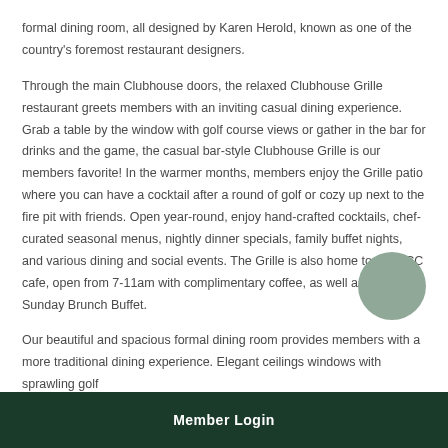formal dining room, all designed by Karen Herold, known as one of the country's foremost restaurant designers.
Through the main Clubhouse doors, the relaxed Clubhouse Grille restaurant greets members with an inviting casual dining experience. Grab a table by the window with golf course views or gather in the bar for drinks and the game, the casual bar-style Clubhouse Grille is our members favorite! In the warmer months, members enjoy the Grille patio where you can have a cocktail after a round of golf or cozy up next to the fire pit with friends. Open year-round, enjoy hand-crafted cocktails, chef-curated seasonal menus, nightly dinner specials, family buffet nights, and various dining and social events. The Grille is also home to the CCC cafe, open from 7-11am with complimentary coffee, as well as our Sunday Brunch Buffet.
Our beautiful and spacious formal dining room provides members with a more traditional dining experience. Elegant ceilings windows with sprawling golf...
Member Login